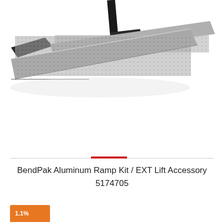[Figure (photo): Close-up product photo of BendPak Aluminum Ramp Kit showing two silver textured aluminum ramp panels extending diagonally, with a black metal lift frame structure visible in the upper portion. The ramps have a diamond-plate non-slip surface texture. Background is white.]
BendPak Aluminum Ramp Kit / EXT Lift Accessory 5174705
1.1%